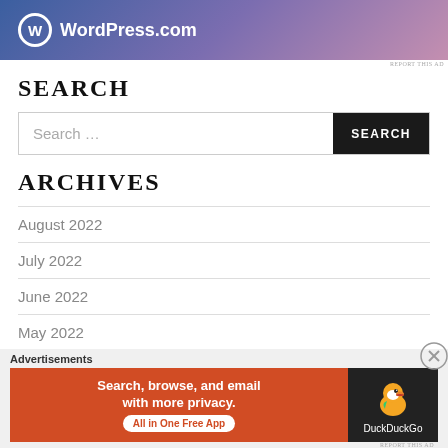[Figure (logo): WordPress.com banner ad with gradient background (blue to purple to pink), WordPress logo circle with W, and WordPress.com text]
REPORT THIS AD
SEARCH
Search ...
ARCHIVES
August 2022
July 2022
June 2022
May 2022
Advertisements
[Figure (photo): DuckDuckGo advertisement banner: orange-red left panel with text 'Search, browse, and email with more privacy. All in One Free App' and dark right panel with DuckDuckGo duck logo and DuckDuckGo text]